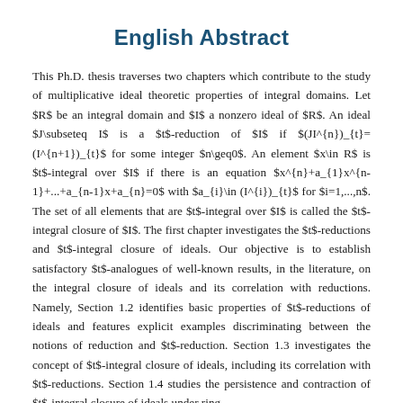English Abstract
This Ph.D. thesis traverses two chapters which contribute to the study of multiplicative ideal theoretic properties of integral domains. Let $R$ be an integral domain and $I$ a nonzero ideal of $R$. An ideal $J\subseteq I$ is a $t$-reduction of $I$ if $(JI^{n})_{t}=(I^{n+1})_{t}$ for some integer $n\geq0$. An element $x\in R$ is $t$-integral over $I$ if there is an equation $x^{n}+a_{1}x^{n-1}+...+a_{n-1}x+a_{n}=0$ with $a_{i}\in (I^{i})_{t}$ for $i=1,...,n$. The set of all elements that are $t$-integral over $I$ is called the $t$-integral closure of $I$. The first chapter investigates the $t$-reductions and $t$-integral closure of ideals. Our objective is to establish satisfactory $t$-analogues of well-known results, in the literature, on the integral closure of ideals and its correlation with reductions. Namely, Section 1.2 identifies basic properties of $t$-reductions of ideals and features explicit examples discriminating between the notions of reduction and $t$-reduction. Section 1.3 investigates the concept of $t$-integral closure of ideals, including its correlation with $t$-reductions. Section 1.4 studies the persistence and contraction of $t$-integral closure of ideals under ring...